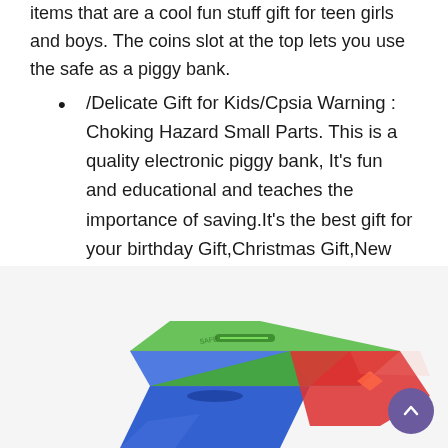items that are a cool fun stuff gift for teen girls and boys. The coins slot at the top lets you use the safe as a piggy bank.
⁎Delicate Gift for Kids⁎Cpsia Warning : Choking Hazard Small Parts. This is a quality electronic piggy bank, It's fun and educational and teaches the importance of saving.It's the best gift for your birthday Gift,Christmas Gift,New Year's Gifts,prize, reward, or any other holiday gift.
[Figure (photo): A colorful piggy bank/money safe with three sections in blue, green, and red colors, with coin slots on top of each section.]